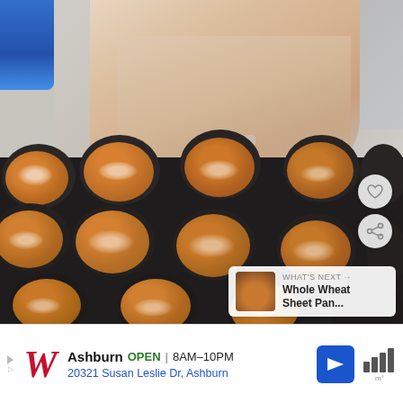[Figure (photo): A hand sprinkling oats onto unbaked muffins in a dark metal muffin tin. The muffins have an orange/pumpkin-colored batter topped with rolled oats. A 'WHAT'S NEXT' overlay in bottom-right shows a thumbnail and text 'Whole Wheat Sheet Pan...' Heart and share buttons visible on right side.]
WHAT'S NEXT → Whole Wheat Sheet Pan...
Ashburn OPEN | 8AM–10PM 20321 Susan Leslie Dr, Ashburn